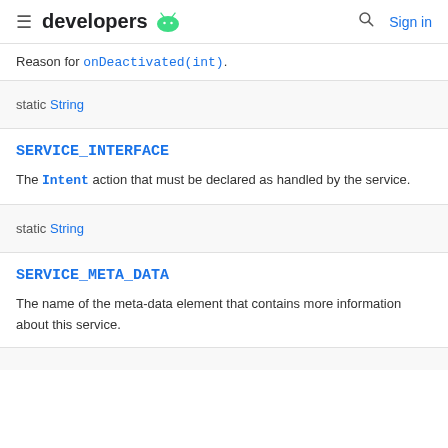developers
Reason for onDeactivated(int).
static String
SERVICE_INTERFACE
The Intent action that must be declared as handled by the service.
static String
SERVICE_META_DATA
The name of the meta-data element that contains more information about this service.